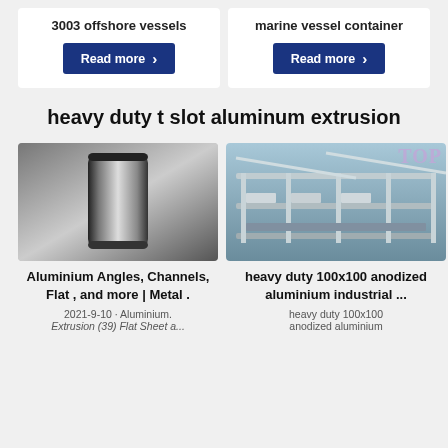3003 offshore vessels
Read more
marine vessel container
Read more
heavy duty t slot aluminum extrusion
[Figure (photo): Aluminium cylindrical metal container or can]
Aluminium Angles, Channels, Flat , and more | Metal .
2021-9-10 · Aluminium. Extrusion (39) Flat Sheet a...
[Figure (photo): Industrial aluminium extrusion factory with shelving structures]
heavy duty 100x100 anodized aluminium industrial ...
heavy duty 100x100 anodized aluminium